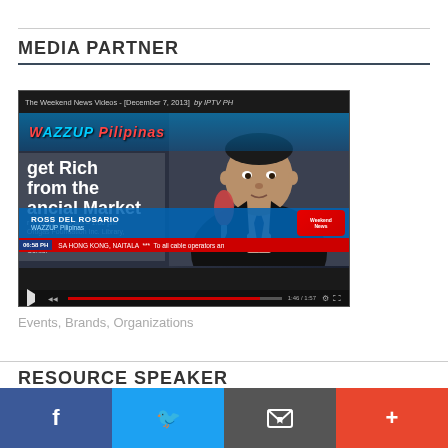MEDIA PARTNER
[Figure (screenshot): YouTube video embed showing Ross Del Rosario from WAZZUP Pilipinas being interviewed about 'Get Rich from the Financial Market' event, dated December 7, 2013. Video title: 'The Weekend News Videos - [December 7, 2013] by IPTV PH'. Name bar shows 'ROSS DEL ROSARIO / WAZZUP Pilipinas'. Ticker text: 'SA HONG KONG, NAITALA *** To all cable operators an'. Time shown: 1:46/1:57.]
Events, Brands, Organizations
RESOURCE SPEAKER